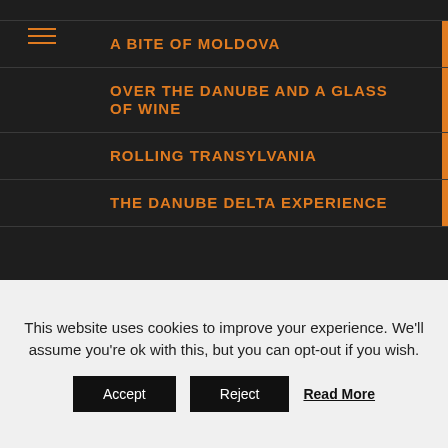A BITE OF MOLDOVA
OVER THE DANUBE AND A GLASS OF WINE
ROLLING TRANSYLVANIA
THE DANUBE DELTA EXPERIENCE
Copyright © 2016-2019 HelloBucovina.com
This website is property of HelloBucovina Travel & Tours SRL,
This website uses cookies to improve your experience. We'll assume you're ok with this, but you can opt-out if you wish.
Accept   Reject   Read More